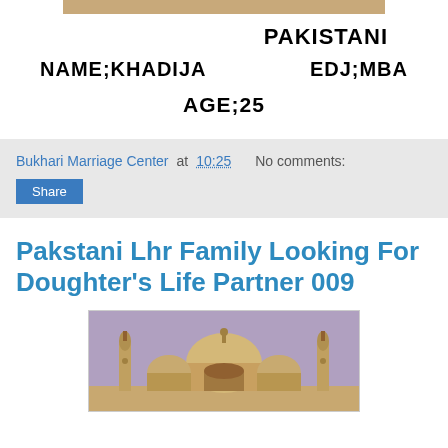[Figure (photo): Top portion of a photo strip with tan/brown border visible at top]
PAKISTANI
NAME;KHADIJA
EDJ;MBA
AGE;25
Bukhari Marriage Center at 10:25   No comments:
Share
Pakstani Lhr Family Looking For Doughter's Life Partner 009
[Figure (photo): Photo of a mosque with large domes and minarets against a purple/dusk sky]